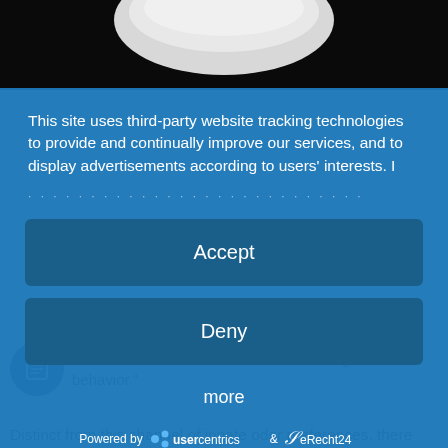[Figure (photo): Top portion of a photograph, mostly black background with a white/light object visible.]
This site uses third-party website tracking technologies to provide and continually improve our services, and to display advertisements according to users' interests. I
[Figure (other): Accept button - dark blue rounded rectangle]
[Figure (other): Deny button - dark blue rounded rectangle]
more
Powered by  usercentrics  &  eRecht24
di  from each other, it's the odor that's driving the behavior."
Distinct from this channel of innate odor preferences, there